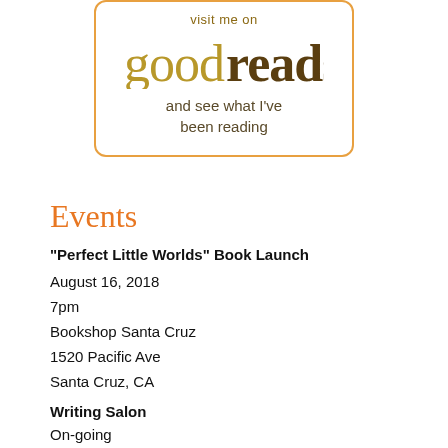[Figure (logo): Goodreads promotional box with orange border, 'visit me on goodreads' text and 'and see what I've been reading' tagline]
Events
“Perfect Little Worlds” Book Launch
August 16, 2018
7pm
Bookshop Santa Cruz
1520 Pacific Ave
Santa Cruz, CA
Writing Salon
On-going
Tues & Wed evenings